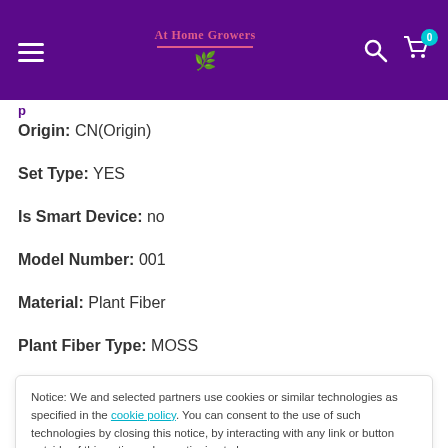At Home Growers
Origin: CN(Origin)
Set Type: YES
Is Smart Device: no
Model Number: 001
Material: Plant Fiber
Plant Fiber Type: MOSS
Notice: We and selected partners use cookies or similar technologies as specified in the cookie policy. You can consent to the use of such technologies by closing this notice, by interacting with any link or button outside of this notice or by continuing to browse.